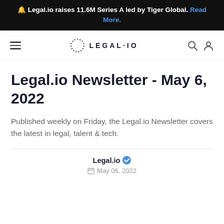🔔 Legal.io raises 11.6M Series A led by Tiger Global. Read More.
[Figure (logo): Legal.io navigation bar with hamburger menu, dotted circle logo with LEGAL·IO text, search and user icons]
Legal.io Newsletter - May 6, 2022
Published weekly on Friday, the Legal.io Newsletter covers the latest in legal, talent & tech.
Legal.io ✓ May 06, 2022